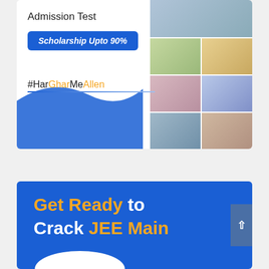[Figure (infographic): Allen admission test promotional banner with 'Admission Test' text, 'Scholarship Upto 90%' blue badge, '#HarGharMeAllen' hashtag with blue underline, and a collage of student/family photos on the right side]
[Figure (infographic): Blue promotional banner reading 'Get Ready to Crack JEE Main' with 'Get Ready' and 'JEE Main' in yellow, white wave arc at bottom, and scroll button on right]